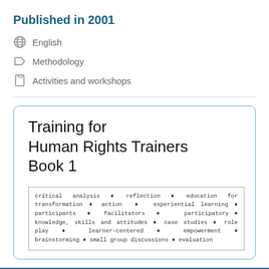Published in 2001
English
Methodology
Activities and workshops
Training for Human Rights Trainers Book 1
critical analysis ✦ reflection ✦ education for transformation ✦ action ✦ experiential learning ✦ participants ✦ facilitators ✦ participatory ✦ knowledge, skills and attitudes ✦ case studies ✦ role play ✦ learner-centered ✦ empowerment ✦ brainstorming ✦ small group discussions ✦ evaluation